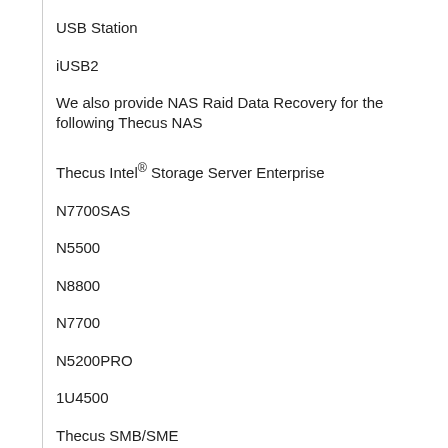USB Station
iUSB2
We also provide NAS Raid Data Recovery for the following Thecus NAS
Thecus Intel® Storage Server Enterprise
N7700SAS
N5500
N8800
N7700
N5200PRO
1U4500
Thecus SMB/SME
N4100PRO
N5200
N4100+